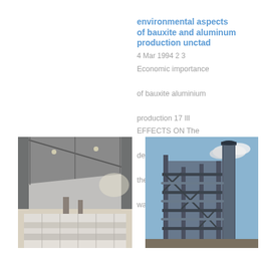environmental aspects of bauxite and aluminum production unctad
4 Mar 1994 2 3

Economic importance

of bauxite aluminium

production 17 Ill

EFFECTS ON The

determining factor is

the capacity of the

washing plant ...
[Figure (photo): Interior of an industrial warehouse or processing facility showing stacked white/grey bauxite or aluminium blocks on the floor with a large steel roof structure and natural lighting from the sides.]
[Figure (photo): Exterior view of an industrial aluminium or bauxite processing plant showing metal framework, pipes, a tall smokestack/chimney against a blue sky with clouds.]